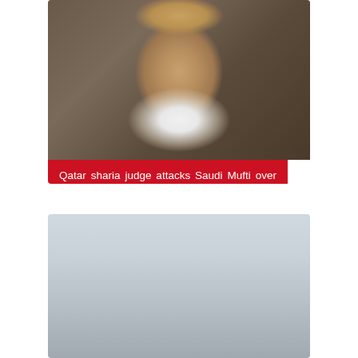[Figure (photo): Photo of a Saudi Muslim cleric or Mufti wearing traditional Saudi headdress (red and white keffiyeh) and white thobe with white beard, photographed indoors.]
Qatar sharia judge attacks Saudi Mufti over embargo - EgyptToday
[Figure (photo): Photo of a middle-aged man wearing glasses, a dark suit with a blue tie and white shirt, standing in front of what appears to be flags. Likely an Egyptian official or minister.]